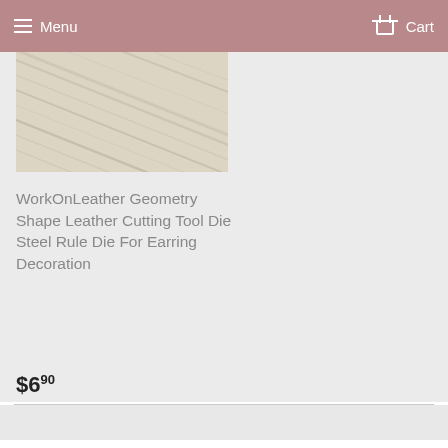Menu   Cart
[Figure (photo): Close-up photo of light wood grain texture, pale beige/cream color with diagonal wood grain lines]
WorkOnLeather Geometry Shape Leather Cutting Tool Die Steel Rule Die For Earring Decoration
$6.90